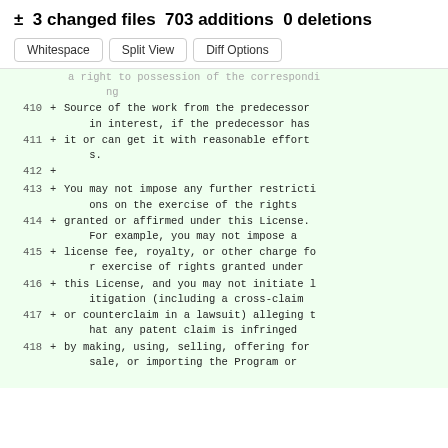± 3 changed files 703 additions 0 deletions
Whitespace  Split View  Diff Options
a right to possession of the corresponding
410 + Source of the work from the predecessor in interest, if the predecessor has
411 + it or can get it with reasonable efforts.
412 +
413 + You may not impose any further restrictions on the exercise of the rights
414 + granted or affirmed under this License. For example, you may not impose a
415 + license fee, royalty, or other charge for exercise of rights granted under
416 + this License, and you may not initiate litigation (including a cross-claim
417 + or counterclaim in a lawsuit) alleging that any patent claim is infringed
418 + by making, using, selling, offering for sale, or importing the Program or